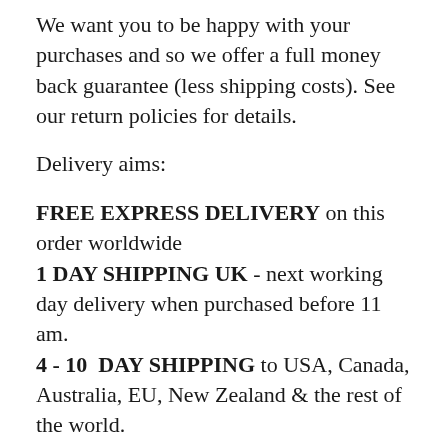We want you to be happy with your purchases and so we offer a full money back guarantee (less shipping costs). See our return policies for details.
Delivery aims:
FREE EXPRESS DELIVERY on this order worldwide
1 DAY SHIPPING UK - next working day delivery when purchased before 11 am.
4 - 10  DAY SHIPPING to USA, Canada, Australia, EU, New Zealand & the rest of the world.
Order by 11 am for same day dispatch.
Orders worth £160 or more are eligible for a 20% discount.
To receive a 20% discount type TWENTYOFFSALE in